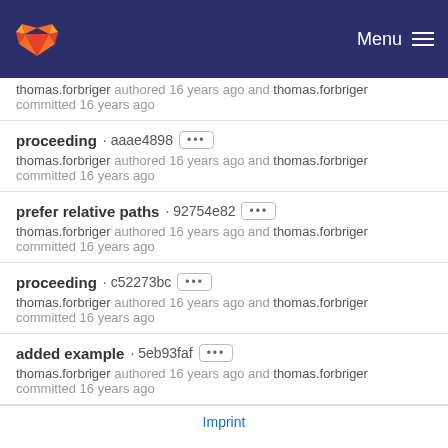GitLab — Menu
thomas.forbriger authored 16 years ago and thomas.forbriger committed 16 years ago
proceeding · aaae4898 ··· thomas.forbriger authored 16 years ago and thomas.forbriger committed 16 years ago
prefer relative paths · 92754e82 ··· thomas.forbriger authored 16 years ago and thomas.forbriger committed 16 years ago
proceeding · c52273bc ··· thomas.forbriger authored 16 years ago and thomas.forbriger committed 16 years ago
added example · 5eb93faf ··· thomas.forbriger authored 16 years ago and thomas.forbriger committed 16 years ago
Imprint